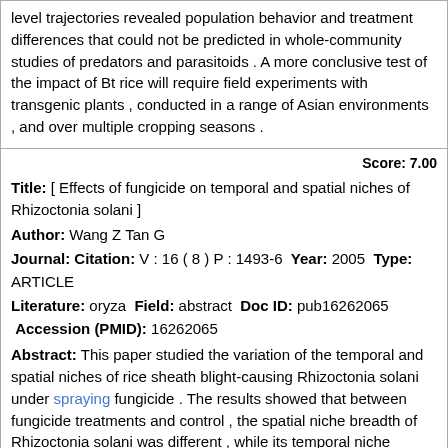level trajectories revealed population behavior and treatment differences that could not be predicted in whole-community studies of predators and parasitoids . A more conclusive test of the impact of Bt rice will require field experiments with transgenic plants , conducted in a range of Asian environments , and over multiple cropping seasons .
Score: 7.00
Title: [ Effects of fungicide on temporal and spatial niches of Rhizoctonia solani ]
Author: Wang Z Tan G
Journal: Citation: V : 16 ( 8 ) P : 1493-6 Year: 2005 Type: ARTICLE
Literature: oryza Field: abstract Doc ID: pub16262065 Accession (PMID): 16262065
Abstract: This paper studied the variation of the temporal and spatial niches of rice sheath blight-causing Rhizoctonia solani under spraying fungicide . The results showed that between fungicide treatments and control , the spatial niche breadth of Rhizoctonia solani was different , while its temporal niche breadth was similar . The spatial niche breadth of Rhizoctonia solani was 0 . 5240 when spraying fungicide at booting and full heading stages , 0 . 5742 at booting and milkfilling stages , and 0 . 8577 at tillering stage , while the control was 0 . 8563 . Spraying fungicide had little effect on temporal niche breath . The spatial niche breath , percentage of diseased leaves and sheathes , index of disease , and control effect all suggested that spraying fungicide two times in rice growth period was better than spraying it one time . Spraying fungicide at booting and full heading stages and at booting stage and milkfilling stages had the best effects . Fungicide could not only narrow the spatial niche breadth , limit the spread of Rhizoctonia solani on top leaves which